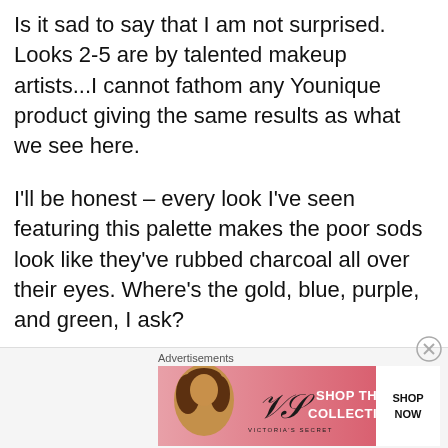Is it sad to say that I am not surprised. Looks 2-5 are by talented makeup artists...I cannot fathom any Younique product giving the same results as what we see here.
I'll be honest – every look I've seen featuring this palette makes the poor sods look like they've rubbed charcoal all over their eyes. Where's the gold, blue, purple, and green, I ask?
[Figure (screenshot): Victoria's Secret advertisement banner with a model, VS logo, 'SHOP THE COLLECTION' text, and 'SHOP NOW' button]
Advertisements